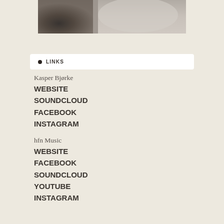[Figure (photo): Partial photo of a person wearing a white shirt, cropped showing torso/hands area, in muted monochromatic tones]
LINKS
Kasper Bjørke
WEBSITE
SOUNDCLOUD
FACEBOOK
INSTAGRAM
hfn Music
WEBSITE
FACEBOOK
SOUNDCLOUD
YOUTUBE
INSTAGRAM